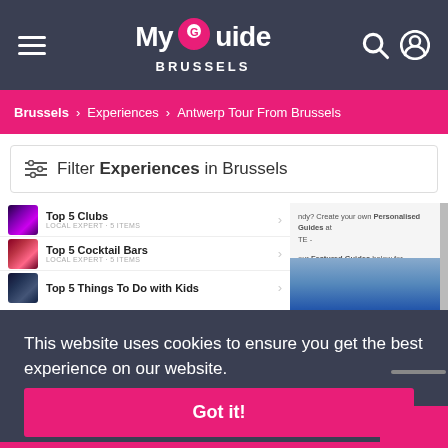My Guide Brussels
Brussels > Experiences > Antwerp Tour From Brussels
Filter Experiences in Brussels
[Figure (screenshot): Screenshot of My Guide Brussels website showing a list with Top 5 Clubs, Top 5 Cocktail Bars, Top 5 Things To Do with Kids entries and a right panel with Personalised Guides and Featured Guides text]
This website uses cookies to ensure you get the best experience on our website. Learn more
Got it!